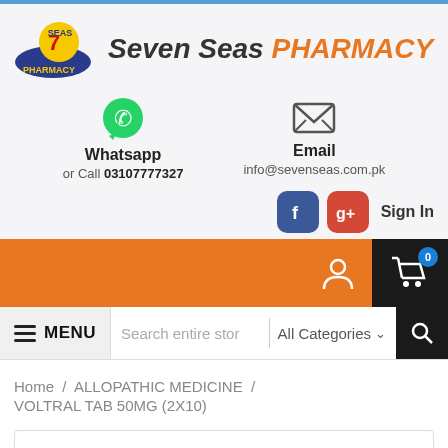[Figure (logo): Seven Seas Pharmacy logo with stylized wave and '7 Seas Pharmacy' text]
Seven Seas PHARMACY
[Figure (infographic): Contact section with WhatsApp and Email icons]
Whatsapp
or Call 03107777327
Email
info@sevenseas.com.pk
[Figure (infographic): Social sign-in bar with Facebook and Google+ icons and Sign In text]
[Figure (infographic): Orange navigation bar with user icon and cart icon showing 0 items]
MENU Search entire store All Categories
Home / ALLOPATHIC MEDICINE / VOLTRAL TAB 50MG (2X10)